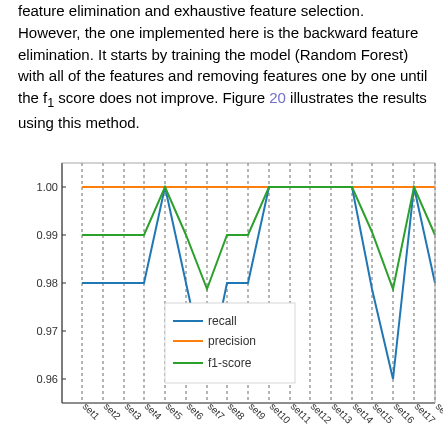feature elimination and exhaustive feature selection. However, the one implemented here is the backward feature elimination. It starts by training the model (Random Forest) with all of the features and removing features one by one until the f1 score does not improve. Figure 20 illustrates the results using this method.
[Figure (line-chart): ]